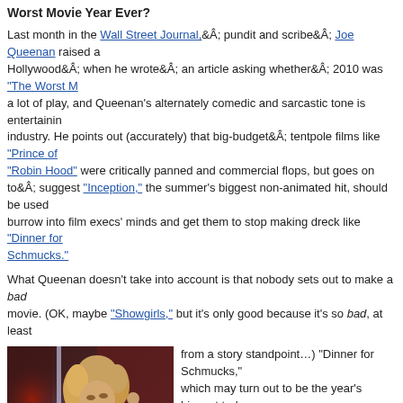Worst Movie Year Ever?
Last month in the Wall Street Journal, pundit and scribe Joe Queenan raised a stir in Hollywood when he wrote an article asking whether 2010 was "The Worst M... a lot of play, and Queenan's alternately comedic and sarcastic tone is entertaining industry. He points out (accurately) that big-budget tentpole films like "Prince of "Robin Hood" were critically panned and commercial flops, but goes on to suggest "Inception," the summer's biggest non-animated hit, should be used burrow into film execs' minds and get them to stop making dreck like "Dinner for Schmucks."
What Queenan doesn't take into account is that nobody sets out to make a bad movie. (OK, maybe "Showgirls," but it's only good because it's so bad, at least from a story standpoint...) "Dinner for Schmucks," which may turn out to be the year's biggest turkey, was based on a very successful French comedy, and clearly had studio support throughout its long g... made $160 million, and follows Adam Sandler's tri... movies squarely aimed at his fan base, which obvi... fussbudget Queenan. And Queenan's lack of opin... volumes: he can snipe about the summer's misses... few, but he fails to give credit where credit is due. " is the top non-animated film of the summer, a cerebral $270 million hit with audie... most critics); the top animated film, "Toy Story 3," comes out of the redoubtable P... and has made more than $400 million domestically in addition to garnering som... best reviews of the "Toy Story" franchise.
[Figure (photo): A blonde curly-haired woman in a black outfit against a red/dark background, appearing to be a still from the movie Showgirls]
It seems like every year some pundit declares the year's movie offerings as th...